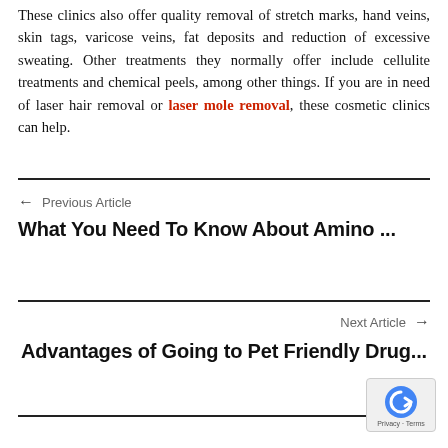These clinics also offer quality removal of stretch marks, hand veins, skin tags, varicose veins, fat deposits and reduction of excessive sweating. Other treatments they normally offer include cellulite treatments and chemical peels, among other things. If you are in need of laser hair removal or laser mole removal, these cosmetic clinics can help.
← Previous Article
What You Need To Know About Amino ...
Next Article →
Advantages of Going to Pet Friendly Drug...